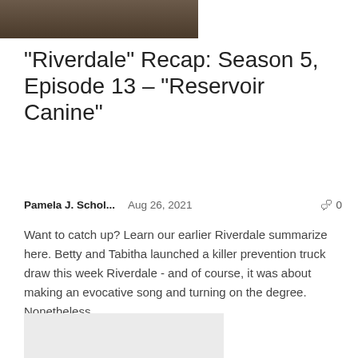[Figure (photo): Partial photo of a person at the top of the page]
“Riverdale” Recap: Season 5, Episode 13 – “Reservoir Canine”
Pamela J. Schol...   Aug 26, 2021   ☐ 0
Want to catch up? Learn our earlier Riverdale summarize here. Betty and Tabitha launched a killer prevention truck draw this week Riverdale - and of course, it was about making an evocative song and turning on the degree. Nonetheless,...
[Figure (photo): Light gray placeholder image at the bottom of the article card]